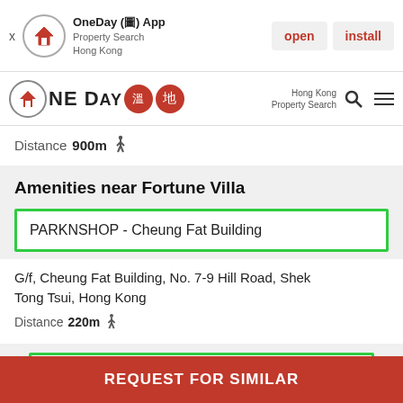[Figure (screenshot): App banner with OneDay App logo, 'open' and 'install' buttons]
[Figure (logo): OneDay (温地) App navigation bar with Hong Kong Property Search]
Distance 900m 🚶
Amenities near Fortune Villa
PARKNSHOP - Cheung Fat Building
G/f, Cheung Fat Building, No. 7-9 Hill Road, Shek Tong Tsui, Hong Kong
Distance 220m 🚶
PARKNSHOP - H.K. University
REQUEST FOR SIMILAR